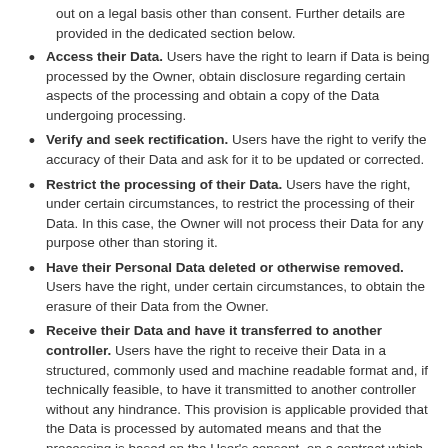out on a legal basis other than consent. Further details are provided in the dedicated section below.
Access their Data. Users have the right to learn if Data is being processed by the Owner, obtain disclosure regarding certain aspects of the processing and obtain a copy of the Data undergoing processing.
Verify and seek rectification. Users have the right to verify the accuracy of their Data and ask for it to be updated or corrected.
Restrict the processing of their Data. Users have the right, under certain circumstances, to restrict the processing of their Data. In this case, the Owner will not process their Data for any purpose other than storing it.
Have their Personal Data deleted or otherwise removed. Users have the right, under certain circumstances, to obtain the erasure of their Data from the Owner.
Receive their Data and have it transferred to another controller. Users have the right to receive their Data in a structured, commonly used and machine readable format and, if technically feasible, to have it transmitted to another controller without any hindrance. This provision is applicable provided that the Data is processed by automated means and that the processing is based on the User's consent, on a contract which the User is part of or on pre-contractual obligations thereof.